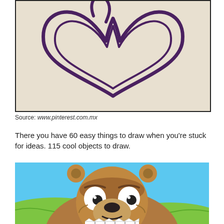[Figure (illustration): A hand-drawn heart shape outline on a beige/cream textured paper background, drawn with dark purple/black marker in a stylized graffiti style.]
Source: www.pinterest.com.mx
There you have 60 easy things to draw when you're stuck for ideas. 115 cool objects to draw.
[Figure (illustration): A cartoon illustration of a gopher or groundhog character with large white eyes with dark pupils, big buck teeth showing at the bottom, brown fur, small round ears, set against a light blue sky background with green hills.]